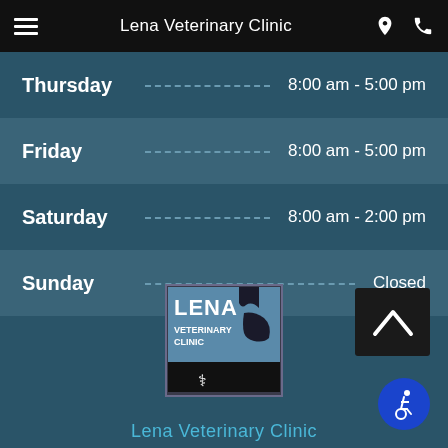Lena Veterinary Clinic
Thursday  8:00 am - 5:00 pm
Friday  8:00 am - 5:00 pm
Saturday  8:00 am - 2:00 pm
Sunday  Closed
[Figure (logo): Lena Veterinary Clinic logo showing silhouettes of a cat and dog against a blue background with text LENA VETERINARY CLINIC and a caduceus symbol]
Lena Veterinary Clinic